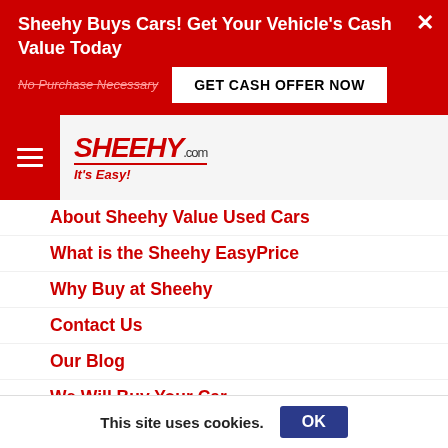Sheehy Buys Cars! Get Your Vehicle's Cash Value Today
No Purchase Necessary
GET CASH OFFER NOW
[Figure (logo): Sheehy.com It's Easy! logo with red text and italic tagline]
About Sheehy Value Used Cars
What is the Sheehy EasyPrice
Why Buy at Sheehy
Contact Us
Our Blog
We Will Buy Your Car
Download Our App
College Grad Programs
Military Appreciation Program
Sheehy Buys Lexus of Richmond
This site uses cookies.
OK